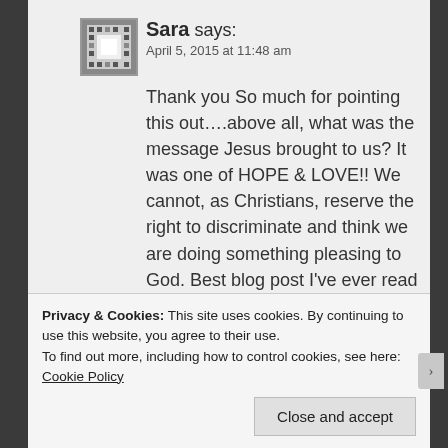[Figure (other): Avatar image — decorative pixelated/mosaic square icon for user Sara]
Sara says:
April 5, 2015 at 11:48 am
Thank you So much for pointing this out….above all, what was the message Jesus brought to us? It was one of HOPE & LOVE!! We cannot, as Christians, reserve the right to discriminate and think we are doing something pleasing to God. Best blog post I've ever read on this topic! We are not supposed to sit in judgment of others. So glad I stumbled upon it!
Privacy & Cookies: This site uses cookies. By continuing to use this website, you agree to their use.
To find out more, including how to control cookies, see here: Cookie Policy
Close and accept